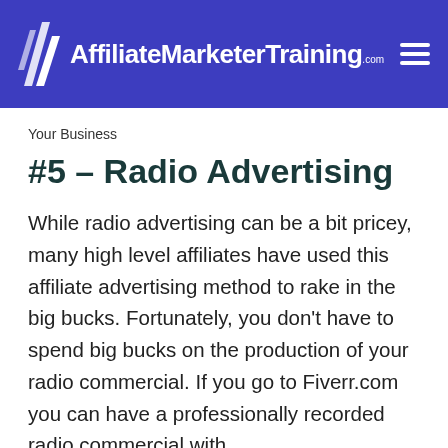AffiliateMarketerTraining.com
Your Business
#5 – Radio Advertising
While radio advertising can be a bit pricey, many high level affiliates have used this affiliate advertising method to rake in the big bucks. Fortunately, you don't have to spend big bucks on the production of your radio commercial. If you go to Fiverr.com you can have a professionally recorded radio commercial with